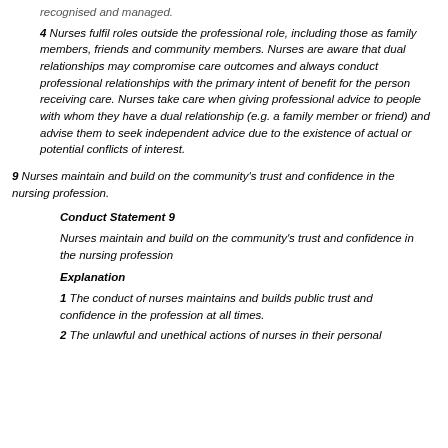recognised and managed.
4 Nurses fulfil roles outside the professional role, including those as family members, friends and community members. Nurses are aware that dual relationships may compromise care outcomes and always conduct professional relationships with the primary intent of benefit for the person receiving care. Nurses take care when giving professional advice to people with whom they have a dual relationship (e.g. a family member or friend) and advise them to seek independent advice due to the existence of actual or potential conflicts of interest.
9 Nurses maintain and build on the community's trust and confidence in the nursing profession.
Conduct Statement 9
Nurses maintain and build on the community's trust and confidence in the nursing profession
Explanation
1 The conduct of nurses maintains and builds public trust and confidence in the profession at all times.
2 The unlawful and unethical actions of nurses in their personal